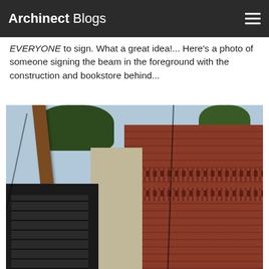Archinect Blogs
EVERYONE to sign. What a great idea!... Here's a photo of someone signing the beam in the foreground with the construction and bookstore behind...
[Figure (photo): Construction site photo showing a large wooden beam being lifted by a crane in the foreground, with a red brick building featuring decorative horizontal bands on the right, a concrete structure in the center, scaffolding/stairs on the lower left, and trees at the top. Sky is visible in the background.]